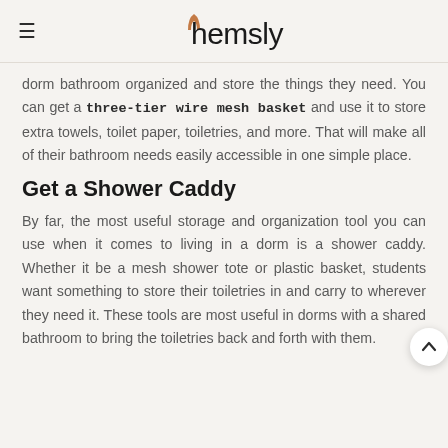hemsly
dorm bathroom organized and store the things they need. You can get a three-tier wire mesh basket and use it to store extra towels, toilet paper, toiletries, and more. That will make all of their bathroom needs easily accessible in one simple place.
Get a Shower Caddy
By far, the most useful storage and organization tool you can use when it comes to living in a dorm is a shower caddy. Whether it be a mesh shower tote or plastic basket, students want something to store their toiletries in and carry to wherever they need it. These tools are most useful in dorms with a shared bathroom to bring the toiletries back and forth with them.